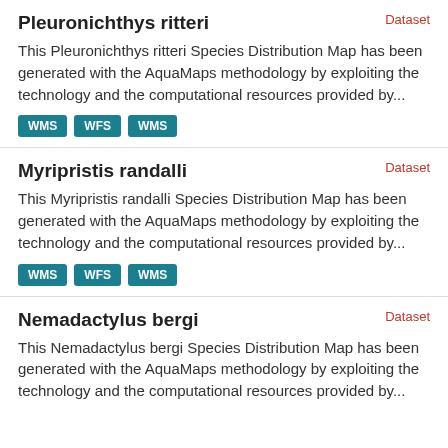Dataset
Pleuronichthys ritteri
This Pleuronichthys ritteri Species Distribution Map has been generated with the AquaMaps methodology by exploiting the technology and the computational resources provided by...
WMS WFS WMS
Dataset
Myripristis randalli
This Myripristis randalli Species Distribution Map has been generated with the AquaMaps methodology by exploiting the technology and the computational resources provided by...
WMS WFS WMS
Dataset
Nemadactylus bergi
This Nemadactylus bergi Species Distribution Map has been generated with the AquaMaps methodology by exploiting the technology and the computational resources provided by...